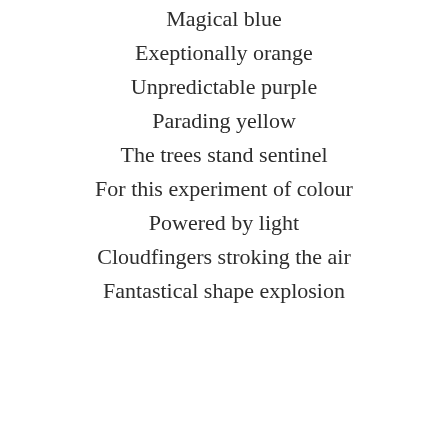Magical blue
Exeptionally orange
Unpredictable purple
Parading yellow
The trees stand sentinel
For this experiment of colour
Powered by light
Cloudfingers stroking the air
Fantastical shape explosion